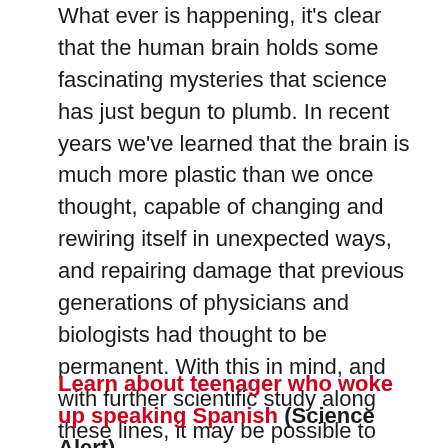What ever is happening, it's clear that the human brain holds some fascinating mysteries that science has just begun to plumb. In recent years we've learned that the brain is much more plastic than we once thought, capable of changing and rewiring itself in unexpected ways, and repairing damage that previous generations of physicians and biologists had thought to be permanent. With this in mind, and with further scientific study along these lines, it may be possible to heal patients with brain damage from head injuries and strokes much more quickly and effectively than ever before—-perhaps completely! So as we continue to learn more, the future seems more promising than ever for accident victims, stroke patients, and other victims of traumatic brain injuries.
Learn about teenager who woke up speaking Spanish (Science Alert)